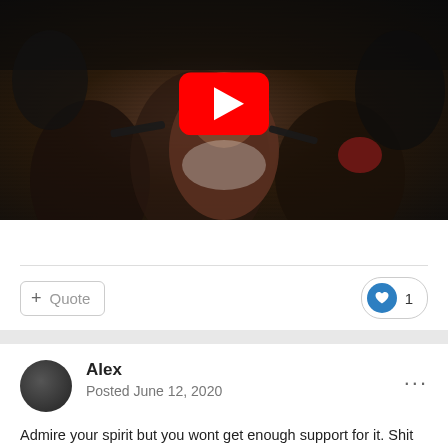[Figure (screenshot): YouTube video thumbnail showing a dark crowd scene with a play button overlay]
+ Quote
♥ 1
Alex
Posted June 12, 2020
Admire your spirit but you wont get enough support for it. Shit sticks and the mask wearing on public transport is here to stay. Even if the law against it been made compulsory is removed the